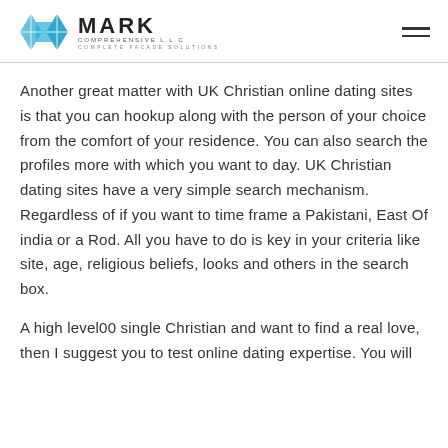MARK COMPREHENSIVE L.L.C — COMPLETE FACADE SOLUTIONS
Another great matter with UK Christian online dating sites is that you can hookup along with the person of your choice from the comfort of your residence. You can also search the profiles more with which you want to day. UK Christian dating sites have a very simple search mechanism. Regardless of if you want to time frame a Pakistani, East Of india or a Rod. All you have to do is key in your criteria like site, age, religious beliefs, looks and others in the search box.
A high level00 single Christian and want to find a real love, then I suggest you to test online dating expertise. You will